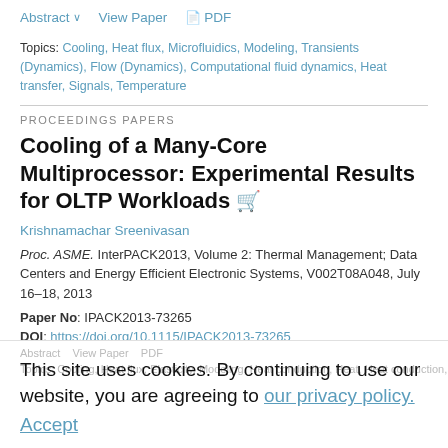Abstract  View Paper  PDF
Topics: Cooling, Heat flux, Microfluidics, Modeling, Transients (Dynamics), Flow (Dynamics), Computational fluid dynamics, Heat transfer, Signals, Temperature
PROCEEDINGS PAPERS
Cooling of a Many-Core Multiprocessor: Experimental Results for OLTP Workloads
Krishnamachar Sreenivasan
Proc. ASME. InterPACK2013, Volume 2: Thermal Management; Data Centers and Energy Efficient Electronic Systems, V002T08A048, July 16–18, 2013
Paper No: IPACK2013-73265
DOI: https://doi.org/10.1115/IPACK2013-73265
This site uses cookies. By continuing to use our website, you are agreeing to our privacy policy. Accept